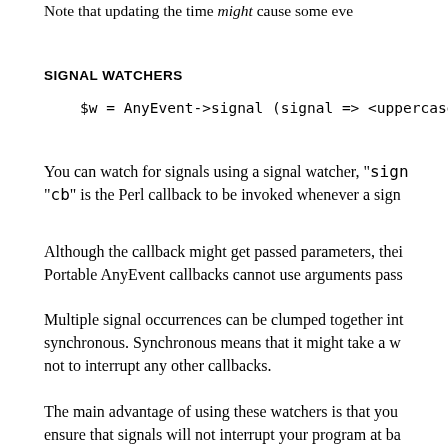Note that updating the time might cause some eve
SIGNAL WATCHERS
$w = AnyEvent->signal (signal => <uppercase
You can watch for signals using a signal watcher, "sign "cb" is the Perl callback to be invoked whenever a sign
Although the callback might get passed parameters, thei Portable AnyEvent callbacks cannot use arguments pass
Multiple signal occurrences can be clumped together in synchronous. Synchronous means that it might take a w not to interrupt any other callbacks.
The main advantage of using these watchers is that you ensure that signals will not interrupt your program at ba